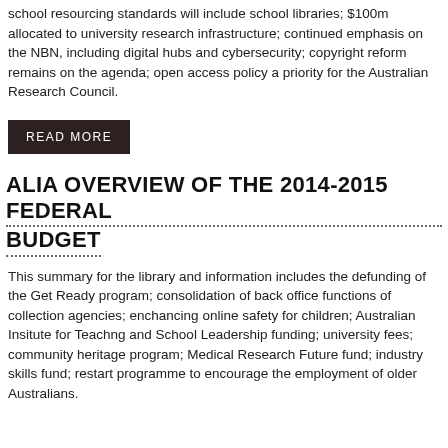school resourcing standards will include school libraries; $100m allocated to university research infrastructure; continued emphasis on the NBN, including digital hubs and cybersecurity; copyright reform remains on the agenda; open access policy a priority for the Australian Research Council.
READ MORE
ALIA OVERVIEW OF THE 2014-2015 FEDERAL BUDGET
This summary for the library and information includes the defunding of the Get Ready program; consolidation of back office functions of collection agencies; enchancing online safety for children; Australian Insitute for Teachng and School Leadership funding; university fees; community heritage program; Medical Research Future fund; industry skills fund; restart programme to encourage the employment of older Australians.